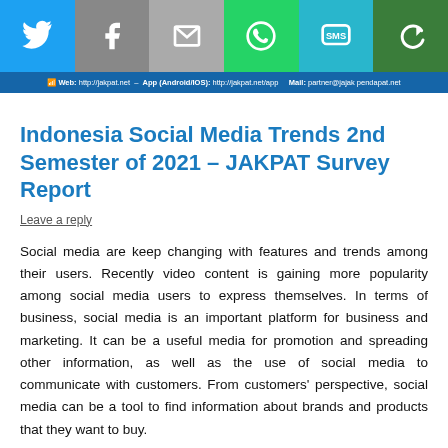[Figure (infographic): Social media share bar with six colored buttons: Twitter (blue bird), Facebook (grey f), Email (grey envelope), WhatsApp (green phone), SMS (teal SMS bubble), and a green rotate/share icon.]
Web: http://jakpat.net – App (Android/IOS): http://jakpat.net/app  Mail: partner@jajak pendapat.net
Indonesia Social Media Trends 2nd Semester of 2021 – JAKPAT Survey Report
Leave a reply
Social media are keep changing with features and trends among their users. Recently video content is gaining more popularity among social media users to express themselves. In terms of business, social media is an important platform for business and marketing. It can be a useful media for promotion and spreading other information, as well as the use of social media to communicate with customers. From customers' perspective, social media can be a tool to find information about brands and products that they want to buy.